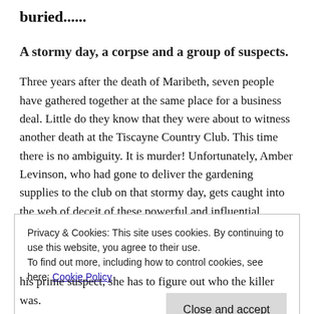buried......
A stormy day, a corpse and a group of suspects.
Three years after the death of Maribeth, seven people have gathered together at the same place for a business deal. Little do they know that they were about to witness another death at the Tiscayne Country Club. This time there is no ambiguity. It is murder! Unfortunately, Amber Levinson, who had gone to deliver the gardening supplies to the club on that stormy day, gets caught into the web of deceit of these powerful and influential people.
Privacy & Cookies: This site uses cookies. By continuing to use this website, you agree to their use.
To find out more, including how to control cookies, see here: Cookie Policy
Close and accept
his prime suspect, she has to figure out who the killer was.